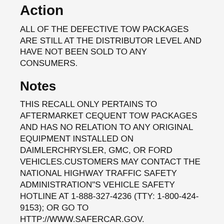Action
ALL OF THE DEFECTIVE TOW PACKAGES ARE STILL AT THE DISTRIBUTOR LEVEL AND HAVE NOT BEEN SOLD TO ANY CONSUMERS.
Notes
THIS RECALL ONLY PERTAINS TO AFTERMARKET CEQUENT TOW PACKAGES AND HAS NO RELATION TO ANY ORIGINAL EQUIPMENT INSTALLED ON DAIMLERCHRYSLER, GMC, OR FORD VEHICLES.CUSTOMERS MAY CONTACT THE NATIONAL HIGHWAY TRAFFIC SAFETY ADMINISTRATION"S VEHICLE SAFETY HOTLINE AT 1-888-327-4236 (TTY: 1-800-424-9153); OR GO TO HTTP://WWW.SAFERCAR.GOV.
Recall Manufacture